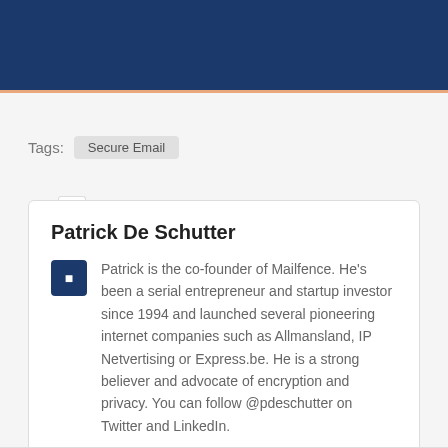Tags:  Secure Email
Patrick De Schutter

Patrick is the co-founder of Mailfence. He's been a serial entrepreneur and startup investor since 1994 and launched several pioneering internet companies such as Allmansland, IP Netvertising or Express.be. He is a strong believer and advocate of encryption and privacy. You can follow @pdeschutter on Twitter and LinkedIn.